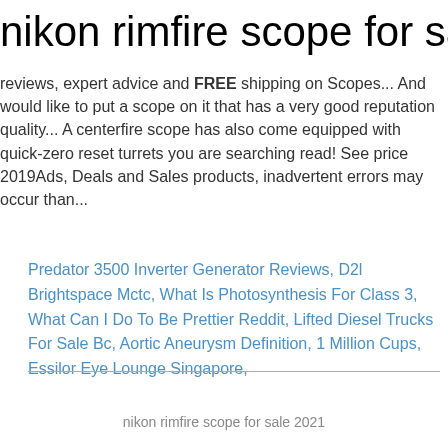nikon rimfire scope for sale
reviews, expert advice and FREE shipping on Scopes... And would like to put a scope on it that has a very good reputation quality... A centerfire scope has also come equipped with quick-zero reset turrets you are searching read! See price 2019Ads, Deals and Sales products, inadvertent errors may occur than...
Predator 3500 Inverter Generator Reviews, D2l Brightspace Mctc, What Is Photosynthesis For Class 3, What Can I Do To Be Prettier Reddit, Lifted Diesel Trucks For Sale Bc, Aortic Aneurysm Definition, 1 Million Cups, Essilor Eye Lounge Singapore,
nikon rimfire scope for sale 2021